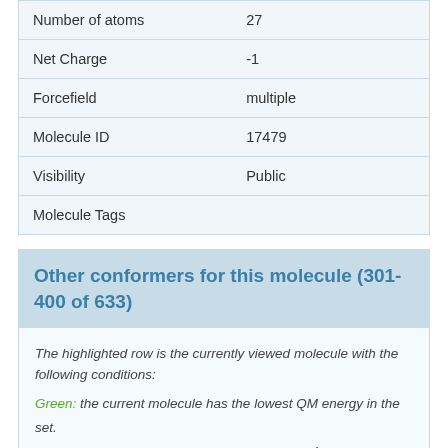| Property | Value |
| --- | --- |
| Number of atoms | 27 |
| Net Charge | -1 |
| Forcefield | multiple |
| Molecule ID | 17479 |
| Visibility | Public |
| Molecule Tags |  |
Other conformers for this molecule (301-400 of 633)
The highlighted row is the currently viewed molecule with the following conditions:
Green: the current molecule has the lowest QM energy in the set.
Yellow: the current molecule is within 2 kJ mol-1 of the